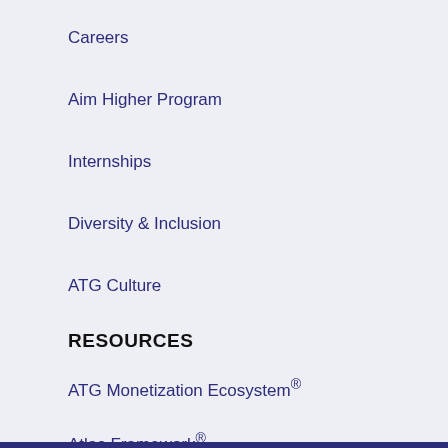Careers
Aim Higher Program
Internships
Diversity & Inclusion
ATG Culture
RESOURCES
ATG Monetization Ecosystem®
Atlas Framework®
ATG University
Case Studies
News
Quote 2 Cast Summit